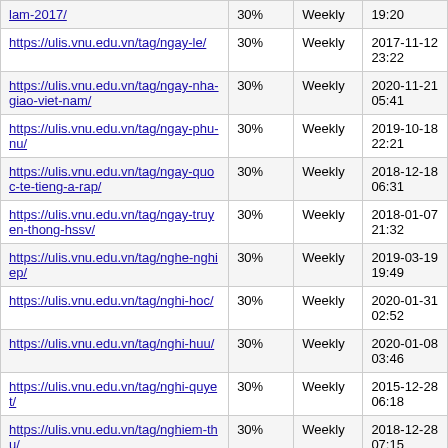| URL | Priority | Frequency | Last Modified |
| --- | --- | --- | --- |
| https://ulis.vnu.edu.vn/tag/...lam-2017/ | 30% | Weekly | 19:20 |
| https://ulis.vnu.edu.vn/tag/ngay-le/ | 30% | Weekly | 2017-11-12 23:22 |
| https://ulis.vnu.edu.vn/tag/ngay-nha-giao-viet-nam/ | 30% | Weekly | 2020-11-21 05:41 |
| https://ulis.vnu.edu.vn/tag/ngay-phu-nu/ | 30% | Weekly | 2019-10-18 22:21 |
| https://ulis.vnu.edu.vn/tag/ngay-quoc-te-tieng-a-rap/ | 30% | Weekly | 2018-12-18 06:31 |
| https://ulis.vnu.edu.vn/tag/ngay-truyen-thong-hssv/ | 30% | Weekly | 2018-01-07 21:32 |
| https://ulis.vnu.edu.vn/tag/nghe-nghiep/ | 30% | Weekly | 2019-03-19 19:49 |
| https://ulis.vnu.edu.vn/tag/nghi-hoc/ | 30% | Weekly | 2020-01-31 02:52 |
| https://ulis.vnu.edu.vn/tag/nghi-huu/ | 30% | Weekly | 2020-01-08 03:46 |
| https://ulis.vnu.edu.vn/tag/nghi-quyet/ | 30% | Weekly | 2015-12-28 06:18 |
| https://ulis.vnu.edu.vn/tag/nghiem-thu/ | 30% | Weekly | 2018-12-28 07:15 |
| https://ulis.vnu.edu.vn/tag/nghien-cuu/ | 30% | Weekly | 2017-12-28 02:35 |
| https://ulis.vnu.edu.vn/tag/nghien-cuu-khoa-hoc/ | 30% | Weekly | 2022-07-25 18:42 |